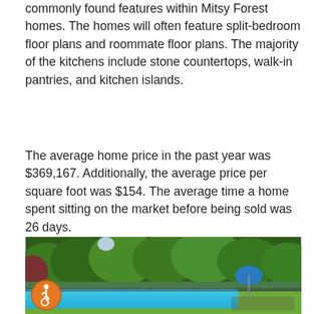commonly found features within Mitsy Forest homes. The homes will often feature split-bedroom floor plans and roommate floor plans. The majority of the kitchens include stone countertops, walk-in pantries, and kitchen islands.
The average home price in the past year was $369,167. Additionally, the average price per square foot was $154. The average time a home spent sitting on the market before being sold was 26 days.
[Figure (photo): Outdoor community pool surrounded by green trees, grass lawn, pool chairs and a blue umbrella, with an accessibility icon (wheelchair symbol) in the lower left corner of the image.]